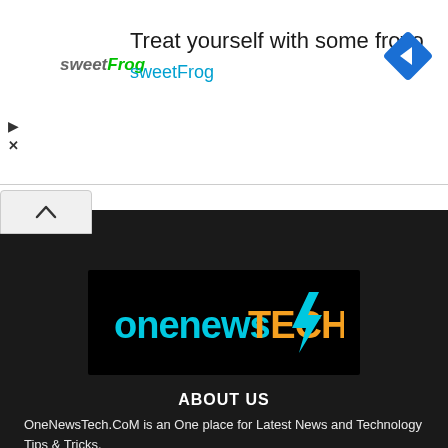[Figure (screenshot): Advertisement banner for sweetFrog frozen yogurt with logo, tagline 'Treat yourself with some froyo', blue diamond navigation icon, and close/play controls]
[Figure (logo): OneNewsTech logo on black background with cyan text 'onenewsTECH' and a cyan lightning bolt]
ABOUT US
OneNewsTech.CoM is an One place for Latest News and Technology Tips & Tricks.
Contact us: onetechblogs@gmail.com